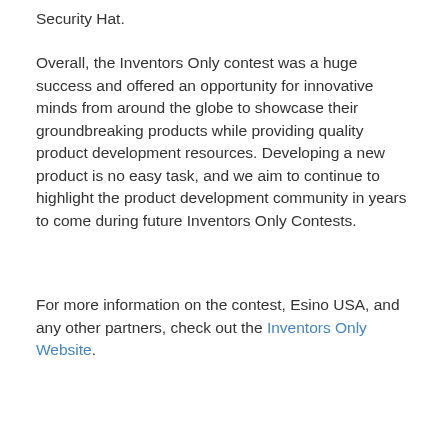Security Hat.
Overall, the Inventors Only contest was a huge success and offered an opportunity for innovative minds from around the globe to showcase their groundbreaking products while providing quality product development resources. Developing a new product is no easy task, and we aim to continue to highlight the product development community in years to come during future Inventors Only Contests.
For more information on the contest, Esino USA, and any other partners, check out the Inventors Only Website.